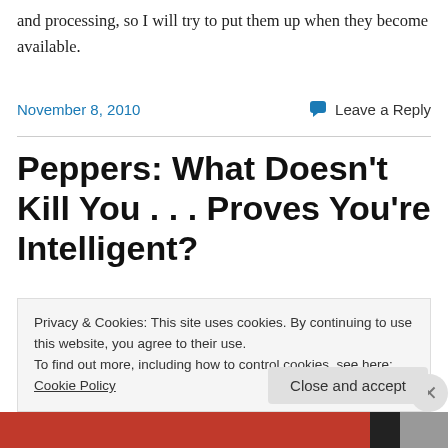and processing, so I will try to put them up when they become available.
November 8, 2010
Leave a Reply
Peppers: What Doesn't Kill You . . . Proves You're Intelligent?
The New York Times has a wonderful article all about chili peppers today. I love it! I am, and have for some time
Privacy & Cookies: This site uses cookies. By continuing to use this website, you agree to their use.
To find out more, including how to control cookies, see here: Cookie Policy
Close and accept